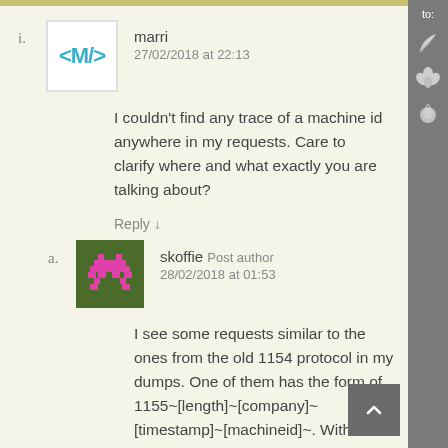i. marri 27/02/2018 at 22:13
I couldn't find any trace of a machine id anywhere in my requests. Care to clarify where and what exactly you are talking about?
Reply ↓
a. skoffie Post author 28/02/2018 at 01:53
I see some requests similar to the ones from the old 1154 protocol in my dumps. One of them has the form of 1155~[length]~[company]~[timestamp]~[machineid]~. With previous versions, this would show the mac address of